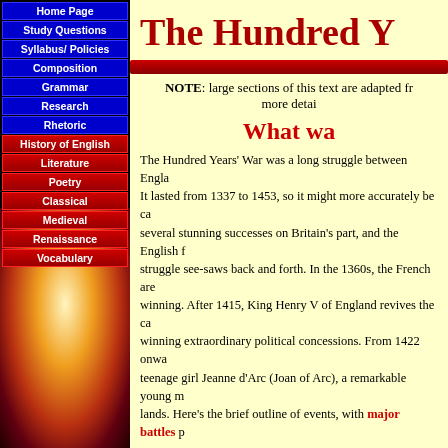Home Page
Study Questions
Syllabus/ Policies
Composition
Grammar
Research
Rhetoric
History of English
Literature
Poetry
Classical
Medieval
Renaissance
Vocabulary
The Hundred Y[ears' War]
NOTE: large sections of this text are adapted fr[om...] more detai[led sources]
What wa[s it?]
The Hundred Years' War was a long struggle between Engla[nd and France]. It lasted from 1337 to 1453, so it might more accurately be ca[lled...] several stunning successes on Britain's part, and the English f[ought...] struggle see-saws back and forth. In the 1360s, the French are [close to] winning. After 1415, King Henry V of England revives the ca[mpaign,] winning extraordinary political concessions. From 1422 onwa[rd, a] teenage girl Jeanne d'Arc (Joan of Arc), a remarkable young m[aid,] lands. Here's the brief outline of events, with major battles p[rovided]
(1337-1360) King Edward the III of England, provoked by Fr[ance,] upon a desparate gamble. He declares himself King of France [claiming the] throne through line of descent via his mother, Isabella of Fran[ce. But] property can only be inherited through the paternal line. This [Salic law...]